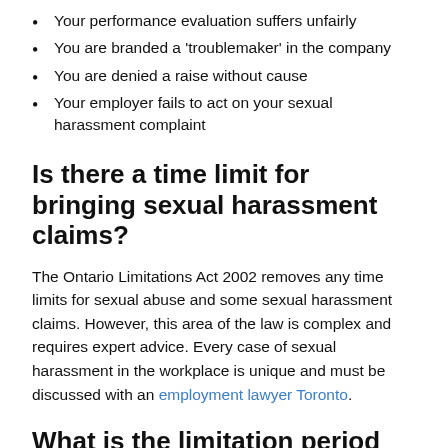Your performance evaluation suffers unfairly
You are branded a 'troublemaker' in the company
You are denied a raise without cause
Your employer fails to act on your sexual harassment complaint
Is there a time limit for bringing sexual harassment claims?
The Ontario Limitations Act 2002 removes any time limits for sexual abuse and some sexual harassment claims. However, this area of the law is complex and requires expert advice. Every case of sexual harassment in the workplace is unique and must be discussed with an employment lawyer Toronto.
What is the limitation period for constructive dismissal claims?
It is advisable that you approach your employment